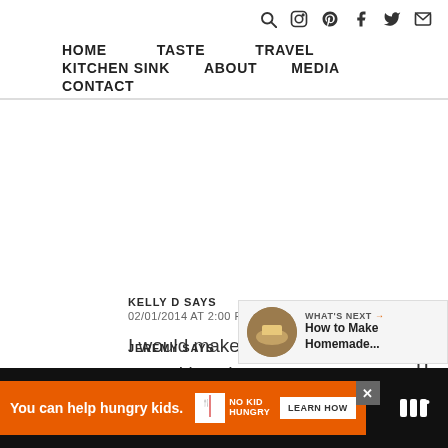Icons: search, instagram, pinterest, facebook, twitter, email
HOME   TASTE   TRAVEL   KITCHEN SINK   ABOUT   MEDIA   CONTACT
KELLY D SAYS
02/01/2014 AT 2:00 PM
I would make soups (tomato and squash) and sauces.
JEREMY SAYS
[Figure (infographic): What's Next widget with food image thumbnail and text: How to Make Homemade...]
You can help hungry kids. NO KID HUNGRY LEARN HOW